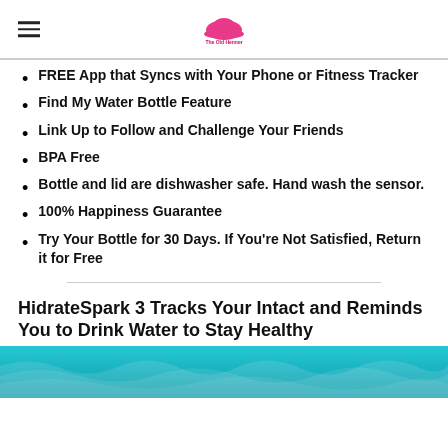[Logo: The Old Henner]
FREE App that Syncs with Your Phone or Fitness Tracker
Find My Water Bottle Feature
Link Up to Follow and Challenge Your Friends
BPA Free
Bottle and lid are dishwasher safe. Hand wash the sensor.
100% Happiness Guarantee
Try Your Bottle for 30 Days. If You're Not Satisfied, Return it for Free
HidrateSpark 3 Tracks Your Intact and Reminds You to Drink Water to Stay Healthy
[Figure (photo): Turquoise swimming pool water surface]